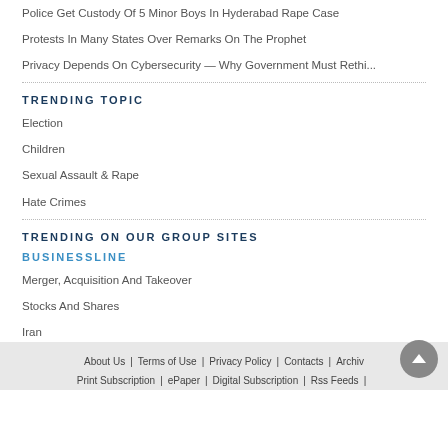Police Get Custody Of 5 Minor Boys In Hyderabad Rape Case
Protests In Many States Over Remarks On The Prophet
Privacy Depends On Cybersecurity — Why Government Must Rethi...
TRENDING TOPIC
Election
Children
Sexual Assault & Rape
Hate Crimes
TRENDING ON OUR GROUP SITES
BUSINESSLINE
Merger, Acquisition And Takeover
Stocks And Shares
Iran
Aadhaar
About Us | Terms of Use | Privacy Policy | Contacts | Archives | Print Subscription | ePaper | Digital Subscription | Rss Feeds |